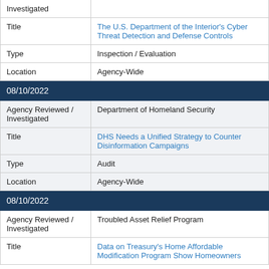| Investigated |  |
| Title | The U.S. Department of the Interior's Cyber Threat Detection and Defense Controls |
| Type | Inspection / Evaluation |
| Location | Agency-Wide |
| 08/10/2022 |  |
| Agency Reviewed / Investigated | Department of Homeland Security |
| Title | DHS Needs a Unified Strategy to Counter Disinformation Campaigns |
| Type | Audit |
| Location | Agency-Wide |
| 08/10/2022 |  |
| Agency Reviewed / Investigated | Troubled Asset Relief Program |
| Title | Data on Treasury's Home Affordable Modification Program Show Homeowners |